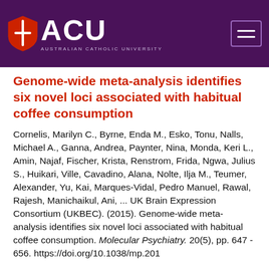ACU Australian Catholic University
Genome-wide meta-analysis identifies six novel loci associated with habitual coffee consumption
Cornelis, Marilyn C., Byrne, Enda M., Esko, Tonu, Nalls, Michael A., Ganna, Andrea, Paynter, Nina, Monda, Keri L., Amin, Najaf, Fischer, Krista, Renstrom, Frida, Ngwa, Julius S., Huikari, Ville, Cavadino, Alana, Nolte, Ilja M., Teumer, Alexander, Yu, Kai, Marques-Vidal, Pedro Manuel, Rawal, Rajesh, Manichaikul, Ani, ... UK Brain Expression Consortium (UKBEC). (2015). Genome-wide meta-analysis identifies six novel loci associated with habitual coffee consumption. Molecular Psychiatry. 20(5), pp. 647 - 656. https://doi.org/10.1038/mp.201